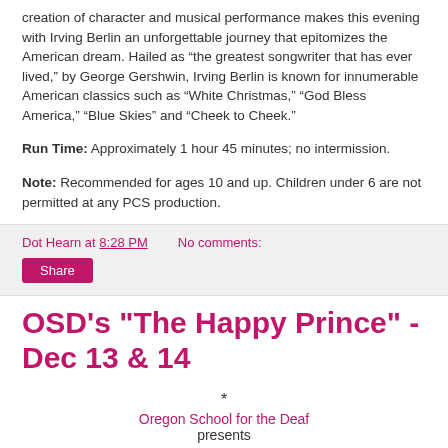creation of character and musical performance makes this evening with Irving Berlin an unforgettable journey that epitomizes the American dream. Hailed as “the greatest songwriter that has ever lived,” by George Gershwin, Irving Berlin is known for innumerable American classics such as “White Christmas,” “God Bless America,” “Blue Skies” and “Cheek to Cheek.”
Run Time: Approximately 1 hour 45 minutes; no intermission.
Note: Recommended for ages 10 and up. Children under 6 are not permitted at any PCS production.
Dot Hearn at 8:28 PM   No comments:
Share
OSD's "The Happy Prince" - Dec 13 & 14
*
Oregon School for the Deaf presents